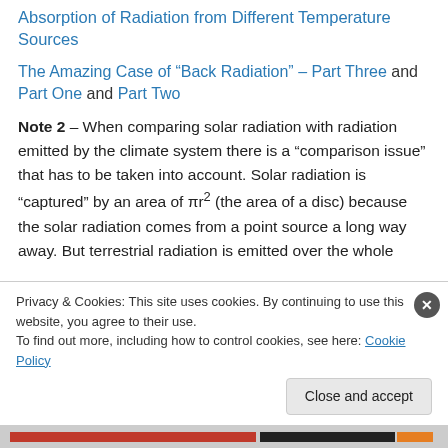Absorption of Radiation from Different Temperature Sources
The Amazing Case of “Back Radiation” – Part Three and Part One and Part Two
Note 2 – When comparing solar radiation with radiation emitted by the climate system there is a “comparison issue” that has to be taken into account. Solar radiation is “captured” by an area of πr² (the area of a disc) because the solar radiation comes from a point source a long way away. But terrestrial radiation is emitted over the whole
Privacy & Cookies: This site uses cookies. By continuing to use this website, you agree to their use.
To find out more, including how to control cookies, see here: Cookie Policy